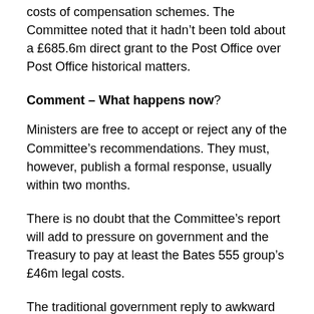costs of compensation schemes. The Committee noted that it hadn't been told about a £685.6m direct grant to the Post Office over Post Office historical matters.
Comment – What happens now?
Ministers are free to accept or reject any of the Committee's recommendations. They must, however, publish a formal response, usually within two months.
There is no doubt that the Committee's report will add to pressure on government and the Treasury to pay at least the Bates 555 group's £46m legal costs.
The traditional government reply to awkward reports of Parliamentary committees is to fudge, which can mean seeming to accept recommendations without actually acting on them. But the Parliamentary momentum for the